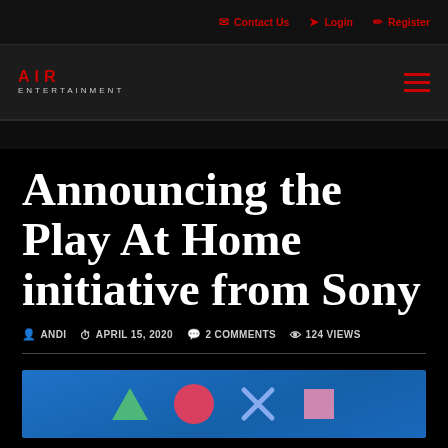Contact Us  Login  Register
AIR ENTERTAINMENT
Announcing the Play At Home initiative from Sony
ANDI  APRIL 15, 2020  2 COMMENTS  124 VIEWS
[Figure (illustration): PlayStation controller symbols (triangle, circle, square, cross) on blue background]